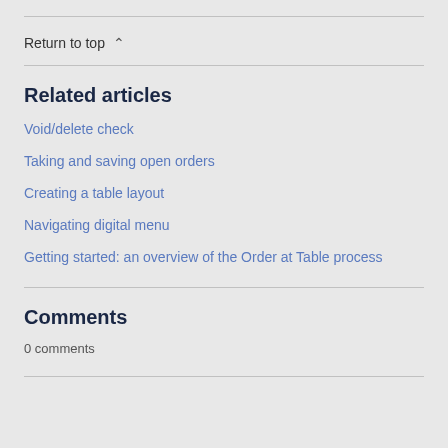Return to top ∧
Related articles
Void/delete check
Taking and saving open orders
Creating a table layout
Navigating digital menu
Getting started: an overview of the Order at Table process
Comments
0 comments